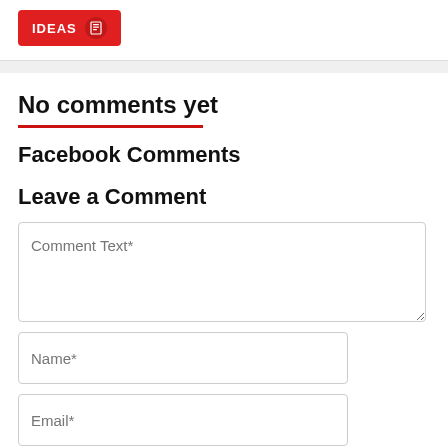[Figure (screenshot): Red 'IDEAS' button with a bookmark/tag icon on a white background panel]
No comments yet
Facebook Comments
Leave a Comment
Comment Text*
Name*
Email*